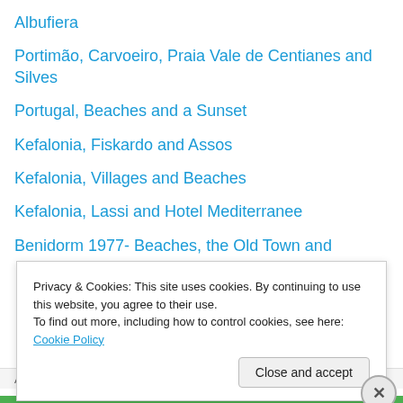Albufiera
Portimão, Carvoeiro, Praia Vale de Centianes and Silves
Portugal, Beaches and a Sunset
Kefalonia, Fiskardo and Assos
Kefalonia, Villages and Beaches
Kefalonia, Lassi and Hotel Mediterranee
Benidorm 1977- Beaches, the Old Town and
Privacy & Cookies: This site uses cookies. By continuing to use this website, you agree to their use.
To find out more, including how to control cookies, see here: Cookie Policy
Close and accept
Advertisements